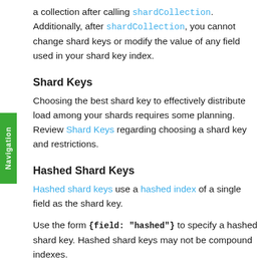a collection after calling shardCollection. Additionally, after shardCollection, you cannot change shard keys or modify the value of any field used in your shard key index.
Shard Keys
Choosing the best shard key to effectively distribute load among your shards requires some planning. Review Shard Keys regarding choosing a shard key and restrictions.
Hashed Shard Keys
Hashed shard keys use a hashed index of a single field as the shard key.
Use the form {field: "hashed"} to specify a hashed shard key. Hashed shard keys may not be compound indexes.